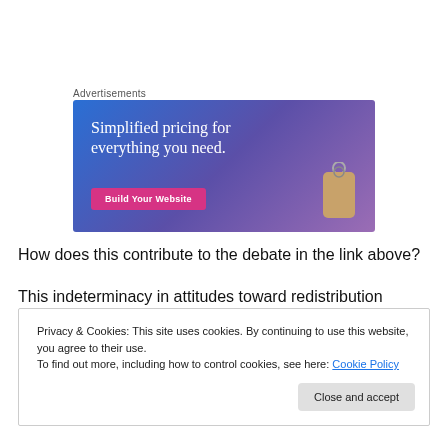Advertisements
[Figure (illustration): Advertisement banner with gradient blue-purple background reading 'Simplified pricing for everything you need.' with a pink 'Build Your Website' button and a price tag graphic on the right.]
How does this contribute to the debate in the link above?
This indeterminacy in attitudes toward redistribution
Privacy & Cookies: This site uses cookies. By continuing to use this website, you agree to their use.
To find out more, including how to control cookies, see here: Cookie Policy
Close and accept